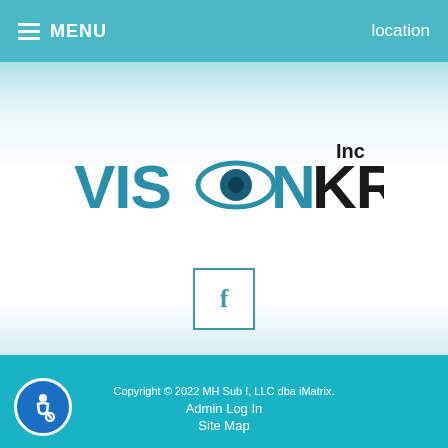≡ MENU   location
[Figure (logo): Vision Kraft Inc logo — large stylized text 'VISION KRAFT' with an eye graphic replacing the O in VISION, and 'Inc' in smaller text above KRAFT, in teal and dark/black colors]
[Figure (other): Facebook social media icon — letter f in a square box with teal border]
Copyright © 2022 MH Sub I, LLC dba iMatrix. Admin Log In Site Map